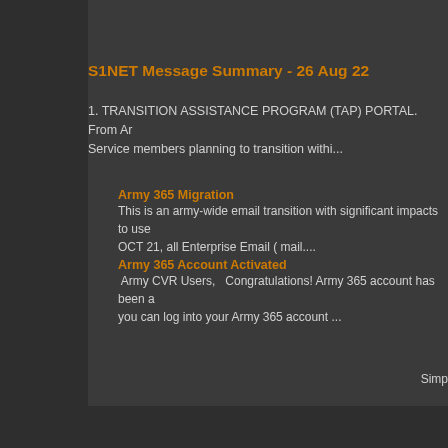S1NET Message Summary - 26 Aug 22
1. TRANSITION ASSISTANCE PROGRAM (TAP) PORTAL.  From Ar Service members planning to transition withi...
Army 365 Migration
This is an army-wide email transition with significant impacts to use OCT 21, all Enterprise Email ( mail....
Army 365 Account Activated
Army CVR Users,   Congratulations! Army 365 account has been a you can log into your Army 365 account ...
Simp